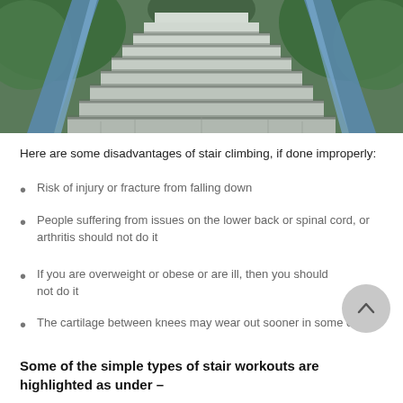[Figure (photo): Outdoor staircase with blue metal railings going upward, lined with green trees on both sides, viewed from below looking up.]
Here are some disadvantages of stair climbing, if done improperly:
Risk of injury or fracture from falling down
People suffering from issues on the lower back or spinal cord, or arthritis should not do it
If you are overweight or obese or are ill, then you should not do it
The cartilage between knees may wear out sooner in some cases
Some of the simple types of stair workouts are highlighted as under –